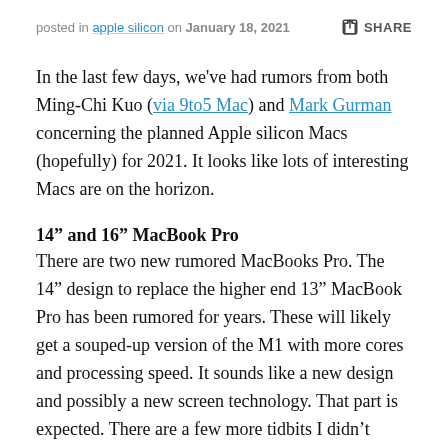posted in apple silicon on January 18, 2021  SHARE
In the last few days, we've had rumors from both Ming-Chi Kuo (via 9to5 Mac) and Mark Gurman concerning the planned Apple silicon Macs (hopefully) for 2021. It looks like lots of interesting Macs are on the horizon.
14” and 16” MacBook Pro
There are two new rumored MacBooks Pro. The 14” design to replace the higher end 13” MacBook Pro has been rumored for years. These will likely get a souped-up version of the M1 with more cores and processing speed. It sounds like a new design and possibly a new screen technology. That part is expected. There are a few more tidbits I didn’t expect:
Demise of the Touch Bar. I’m actually starting to